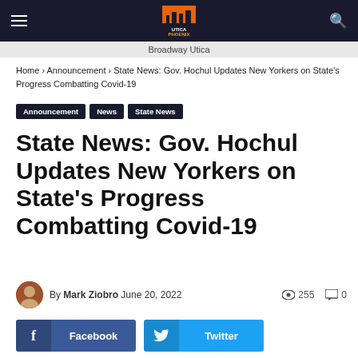Utica Phoenix — Broadway Utica
Home › Announcement › State News: Gov. Hochul Updates New Yorkers on State's Progress Combatting Covid-19
Announcement  News  State News
State News: Gov. Hochul Updates New Yorkers on State's Progress Combatting Covid-19
By Mark Ziobro June 20, 2022  255 views  0 comments